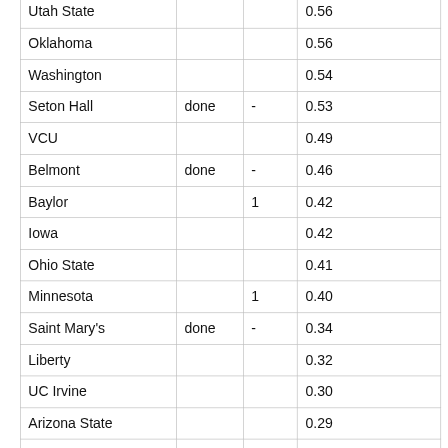| Utah State |  |  | 0.56 |
| Oklahoma |  |  | 0.56 |
| Washington |  |  | 0.54 |
| Seton Hall | done | - | 0.53 |
| VCU |  |  | 0.49 |
| Belmont | done | - | 0.46 |
| Baylor |  | 1 | 0.42 |
| Iowa |  |  | 0.42 |
| Ohio State |  |  | 0.41 |
| Minnesota |  | 1 | 0.40 |
| Saint Mary's | done | - | 0.34 |
| Liberty |  |  | 0.32 |
| UC Irvine |  |  | 0.30 |
| Arizona State |  |  | 0.29 |
| New Mexico St | done | - | 0.27 |
| Yale | done | - | 0.25 |
| Saint Louis |  |  | 0.18 |